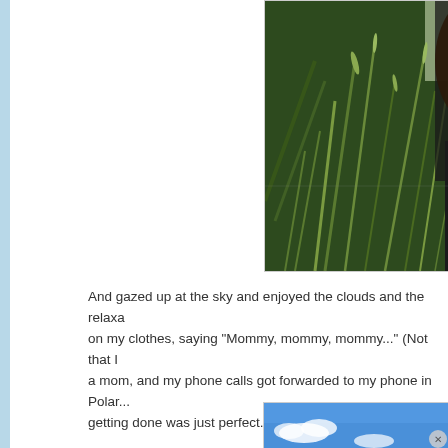[Figure (photo): Person lying in tall green grass, wearing glasses, viewed from below looking up through the grass. The person appears to be relaxing outdoors.]
And gazed up at the sky and enjoyed the clouds and the relaxa... on my clothes, saying "Mommy, mommy, mommy..." (Not that I a mom, and my phone calls got forwarded to my phone in Polar... getting done was just perfect...
[Figure (photo): Blue sky with a few white clouds, partial view.]